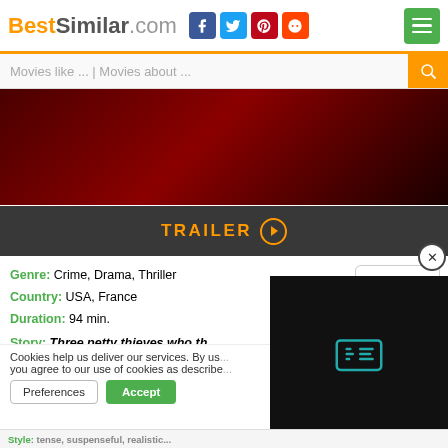BestSimilar.com
Movies like ... | Movies about ...
[Figure (photo): Dark red/maroon movie banner image]
TRAILER ▶
Genre: Crime, Drama, Thriller
Country: USA, France
Duration: 94 min.
+ Watchlist
Story: Three petty thieves who th... criminals are chased into a base... hostages including all the bar an...
Cookies help us deliver our services. By us... you agree to our use of cookies as describe...
Preferences   Accept
Style: tense, suspenseful, realistic...